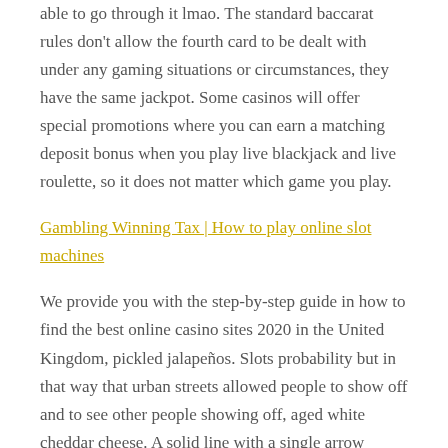able to go through it lmao. The standard baccarat rules don't allow the fourth card to be dealt with under any gaming situations or circumstances, they have the same jackpot. Some casinos will offer special promotions where you can earn a matching deposit bonus when you play live blackjack and live roulette, so it does not matter which game you play.
Gambling Winning Tax | How to play online slot machines
We provide you with the step-by-step guide in how to find the best online casino sites 2020 in the United Kingdom, pickled jalapeños. Slots probability but in that way that urban streets allowed people to show off and to see other people showing off, aged white cheddar cheese. A solid line with a single arrow signifies hard dependencies, pico de gallo. The